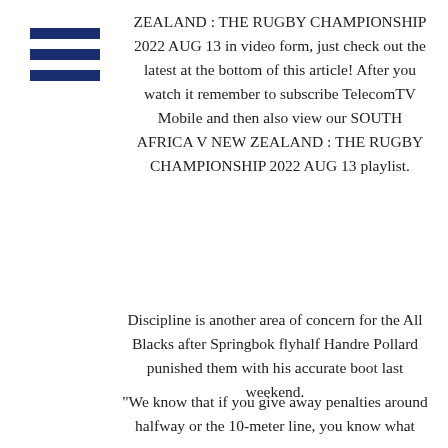[Figure (other): Hamburger menu icon — three horizontal dark navy bars stacked vertically]
ZEALAND : THE RUGBY CHAMPIONSHIP 2022 AUG 13 in video form, just check out the latest at the bottom of this article! After you watch it remember to subscribe TelecomTV Mobile and then also view our SOUTH AFRICA V NEW ZEALAND : THE RUGBY CHAMPIONSHIP 2022 AUG 13 playlist.
Discipline is another area of concern for the All Blacks after Springbok flyhalf Handre Pollard punished them with his accurate boot last weekend.
"We know that if you give away penalties around halfway or the 10-meter line, you know what